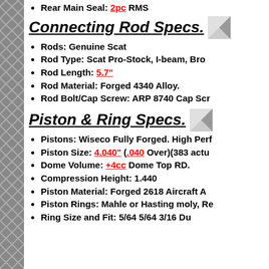Rear Main Seal: 2pc RMS
Connecting Rod Specs.
Rods: Genuine Scat
Rod Type: Scat Pro-Stock, I-beam, Bro...
Rod Length: 5.7"
Rod Material: Forged 4340 Alloy.
Rod Bolt/Cap Screw: ARP 8740 Cap Sc...
Piston & Ring Specs.
Pistons: Wiseco Fully Forged. High Perf...
Piston Size: 4.040" (.040 Over)(383 actu...
Dome Volume: +4cc Dome Top RD.
Compression Height: 1.440
Piston Material: Forged 2618 Aircraft A...
Piston Rings: Mahle or Hasting moly, Re...
Ring Size and Fit: 5/64 5/64 3/16 Du...